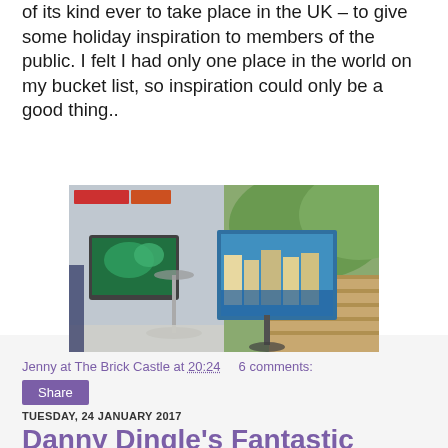of its kind ever to take place in the UK – to give some holiday inspiration to members of the public. I felt I had only one place in the world on my bucket list, so inspiration could only be a good thing..
[Figure (photo): Indoor exhibition space with TV screens and travel-themed backdrops showing Venice canals and the Great Wall of China, with a tall pedestal table in the center.]
Jenny at The Brick Castle at 20:24    6 comments:
Share
TUESDAY, 24 JANUARY 2017
Danny Dingle's Fantastic Finds: The Metal-Mobile (7+ Book Review)